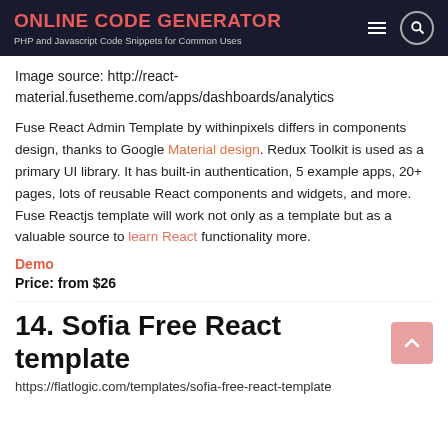ONLINE CODE GENERATOR
PHP and Javascript Code Snippets for Common Uses
Image source: http://react-material.fusetheme.com/apps/dashboards/analytics
Fuse React Admin Template by withinpixels differs in components design, thanks to Google Material design. Redux Toolkit is used as a primary UI library. It has built-in authentication, 5 example apps, 20+ pages, lots of reusable React components and widgets, and more. Fuse Reactjs template will work not only as a template but as a valuable source to learn React functionality more.
Demo
Price: from $26
14. Sofia Free React template
https://flatlogic.com/templates/sofia-free-react-template